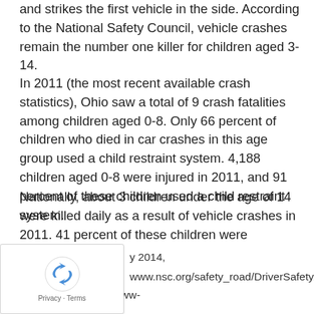and strikes the first vehicle in the side. According to the National Safety Council, vehicle crashes remain the number one killer for children aged 3-14.
In 2011 (the most recent available crash statistics), Ohio saw a total of 9 crash fatalities among children aged 0-8. Only 66 percent of children who died in car crashes in this age group used a child restraint system. 4,188 children aged 0-8 were injured in 2011, and 91 percent of these children used a child restraint system.
Nationally, about 3 children under the age of 14 were killed daily as a result of vehicle crashes in 2011. 41 percent of these children were unrestrained. Among children 4 and younger, 30 percent of fatalities were due to the lack of child car seats.
y 2014, www.nsc.org/safety_road/DriverSafety/Pages/Chilo January 2014, http://www-